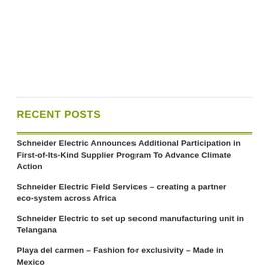RECENT POSTS
Schneider Electric Announces Additional Participation in First-of-Its-Kind Supplier Program To Advance Climate Action
Schneider Electric Field Services – creating a partner eco-system across Africa
Schneider Electric to set up second manufacturing unit in Telangana
Playa del carmen – Fashion for exclusivity – Made in Mexico